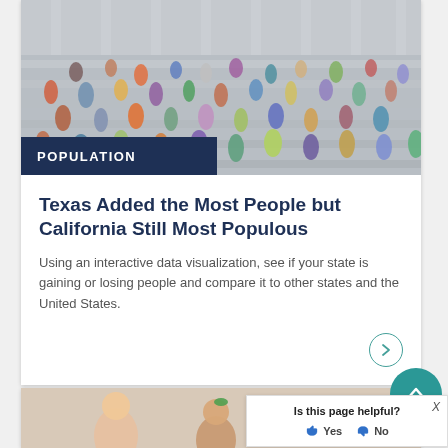[Figure (photo): Crowd of people on steps of a public building, photographed from above]
POPULATION
Texas Added the Most People but California Still Most Populous
Using an interactive data visualization, see if your state is gaining or losing people and compare it to other states and the United States.
[Figure (photo): Partial view of second card showing children, bottom of page]